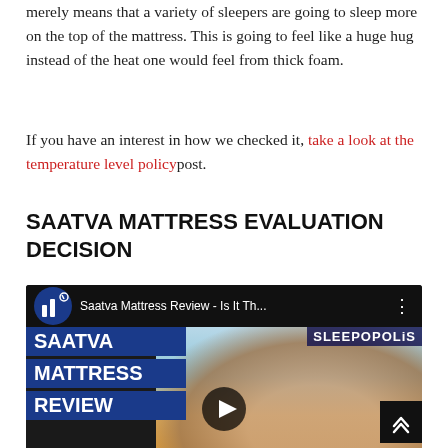merely means that a variety of sleepers are going to sleep more on the top of the mattress. This is going to feel like a huge hug instead of the heat one would feel from thick foam.
If you have an interest in how we checked it, take a look at the temperature level policy post.
SAATVA MATTRESS EVALUATION DECISION
[Figure (screenshot): YouTube video thumbnail for 'Saatva Mattress Review - Is It Th...' from the Sleepopolis channel. Shows the text SAATVA MATTRESS REVIEW in blue labels on the left, a person smiling on the right side, and a play button in the center.]